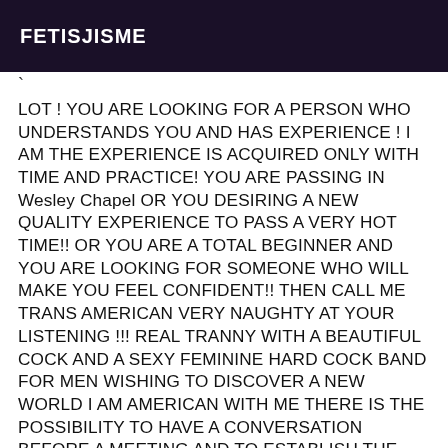FETISJISME
LOT ! YOU ARE LOOKING FOR A PERSON WHO UNDERSTANDS YOU AND HAS EXPERIENCE ! I AM THE EXPERIENCE IS ACQUIRED ONLY WITH TIME AND PRACTICE! YOU ARE PASSING IN Wesley Chapel OR YOU DESIRING A NEW QUALITY EXPERIENCE TO PASS A VERY HOT TIME!! OR YOU ARE A TOTAL BEGINNER AND YOU ARE LOOKING FOR SOMEONE WHO WILL MAKE YOU FEEL CONFIDENT!! THEN CALL ME TRANS AMERICAN VERY NAUGHTY AT YOUR LISTENING !!! REAL TRANNY WITH A BEAUTIFUL COCK AND A SEXY FEMININE HARD COCK BAND FOR MEN WISHING TO DISCOVER A NEW WORLD I AM AMERICAN WITH ME THERE IS THE POSSIBILITY TO HAVE A CONVERSATION BEFORE A MEETING AND TO ESTABLISH THE LEAST OF YOUR DESIRES WITH ME THERE IS NO TIME LIMIT I PRIVILEGE THE